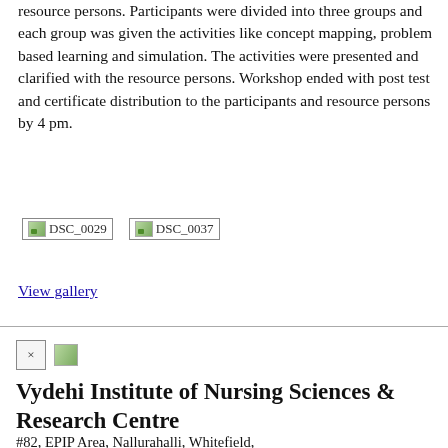resource persons. Participants were divided into three groups and each group was given the activities like concept mapping, problem based learning and simulation. The activities were presented and clarified with the resource persons. Workshop ended with post test and certificate distribution to the participants and resource persons by 4 pm.
[Figure (photo): Two thumbnail images labeled DSC_0029 and DSC_0037]
View gallery
[Figure (other): Close button (x) and a small image icon]
Vydehi Institute of Nursing Sciences & Research Centre
#82, EPIP Area, Nallurahalli, Whitefield, Bangalore - 560 066 (Karnataka) Mail Us: Our Website: Contact Us: Extenstion: